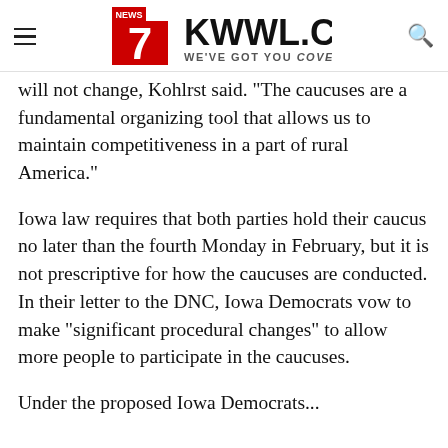KWWL.COM — WE'VE GOT YOU COVERED.
will not change, Kohlrst said. "The caucuses are a fundamental organizing tool that allows us to maintain competitiveness in a part of rural America."
Iowa law requires that both parties hold their caucus no later than the fourth Monday in February, but it is not prescriptive for how the caucuses are conducted. In their letter to the DNC, Iowa Democrats vow to make "significant procedural changes" to allow more people to participate in the caucuses.
Under the proposed Iowa Democrats...